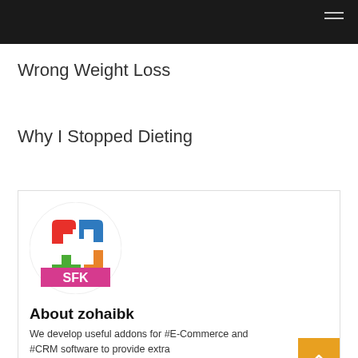Wrong Weight Loss
Why I Stopped Dieting
[Figure (logo): SFK logo: colorful S-shaped arrows in red, blue, green, orange with pink banner and white SFK text]
About zohaibk
We develop useful addons for #E-Commerce and #CRM software to provide extra features.#PrestaShop #Magento #SugarCRM #Vtiger &